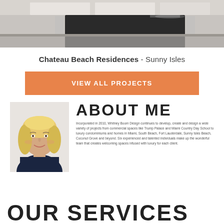[Figure (photo): Interior kitchen with dark countertop, white cabinets and reflective floor tiles]
Chateau Beach Residences - Sunny Isles
VIEW ALL PROJECTS
ABOUT ME
[Figure (photo): Portrait photo of a blonde woman in a dark blazer]
Incorporated in 2010, Whitney Boom Design continues to develop, create and design a wide variety of projects from commercial spaces like Trump Palace and Miami Country Day School to luxury condominiums and homes in Miami, South Beach, Fort Lauderdale, Sunny Isles Beach, Coconut Grove and beyond. Six experienced and talented individuals make up the wonderful team that creates welcoming spaces infused with luxury for each client.
OUR SERVICES